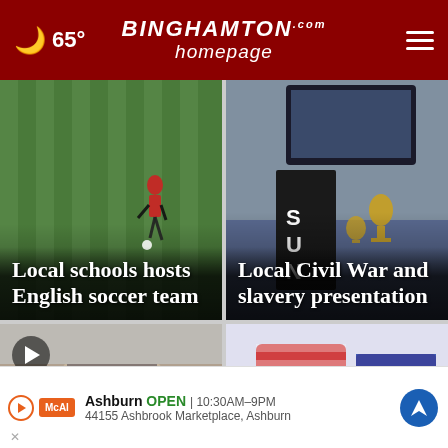Binghamton homepage.com — 65°
[Figure (photo): Soccer player on green field — Local schools hosts English soccer team]
Local schools hosts English soccer team
[Figure (photo): SUNY presentation room with trophy and bell — Local Civil War and slavery presentation]
Local Civil War and slavery presentation
[Figure (photo): Man's head with video play button overlay]
[Figure (photo): Vote flags and American flags]
Ashburn OPEN | 10:30AM–9PM 44155 Ashbrook Marketplace, Ashburn